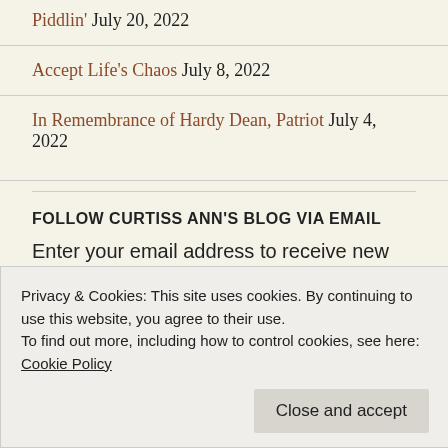Piddlin' July 20, 2022
Accept Life's Chaos July 8, 2022
In Remembrance of Hardy Dean, Patriot July 4, 2022
FOLLOW CURTISS ANN'S BLOG VIA EMAIL
Enter your email address to receive new blog posts
Privacy & Cookies: This site uses cookies. By continuing to use this website, you agree to their use.
To find out more, including how to control cookies, see here: Cookie Policy